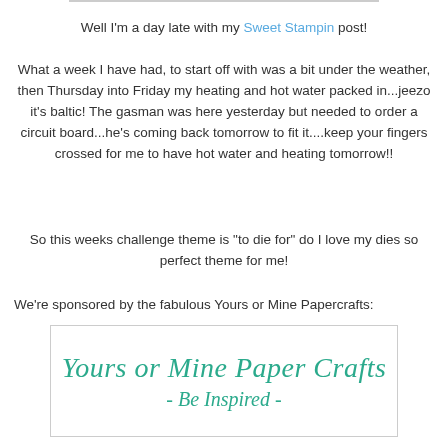Well I'm a day late with my Sweet Stampin post!
What a week I have had, to start off with was a bit under the weather, then Thursday into Friday my heating and hot water packed in...jeezo it's baltic!  The gasman was here yesterday but needed to order a circuit board...he's coming back tomorrow to fit it....keep your fingers crossed for me to have hot water and heating tomorrow!!
So this weeks challenge theme is "to die for" do I love my dies so perfect theme for me!
We're sponsored by the fabulous Yours or Mine Papercrafts:
[Figure (logo): Yours or Mine Paper Crafts logo with tagline '- Be Inspired -' in teal cursive script on white background with light border]